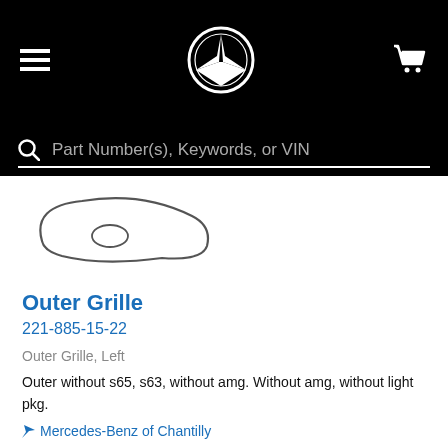Mercedes-Benz parts website header with logo, menu, and cart
Part Number(s), Keywords, or VIN
[Figure (illustration): Line drawing of an outer grille part (left side, curved wedge shape with oval cutout)]
Outer Grille
221-885-15-22
Outer Grille, Left
Outer without s65, s63, without amg. Without amg, without light pkg.
Mercedes-Benz of Chantilly
$27.50
Add To Cart